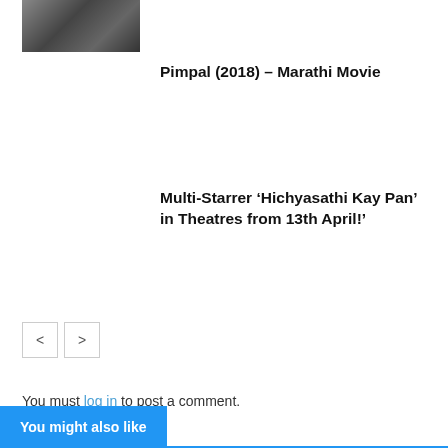[Figure (photo): Small thumbnail image of a movie scene, dark tones]
Pimpal (2018) – Marathi Movie
Multi-Starrer ‘Hichyasathi Kay Pan’ in Theatres from 13th April!’
You must log in to post a comment.
You might also like